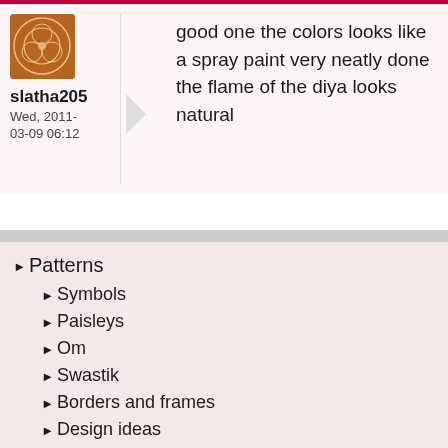[Figure (photo): User avatar showing a circular fractal/mandala-like pattern in brown/terracotta tones]
slatha205
Wed, 2011-03-09 06:12
good one the colors looks like a spray paint very neatly done the flame of the diya looks natural
Patterns
Symbols
Paisleys
Om
Swastik
Borders and frames
Design ideas
Color schemes